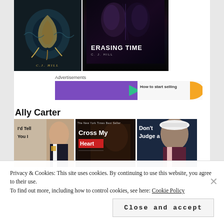[Figure (photo): Two book covers: C.J. Hill fantasy book cover on left, 'Erasing Time' by C.J. Hill on right showing two faces]
Advertisements
[Figure (other): Advertisement banner with purple background, teal arrow, orange shape, and text 'How to start selling']
Ally Carter
[Figure (photo): Three Ally Carter book covers: 'I'd Tell You I Love You But Then I'd Have to Kill You', 'Cross My Heart', and 'Don't Judge a Girl by Her Cover']
Privacy & Cookies: This site uses cookies. By continuing to use this website, you agree to their use.
To find out more, including how to control cookies, see here: Cookie Policy
Close and accept